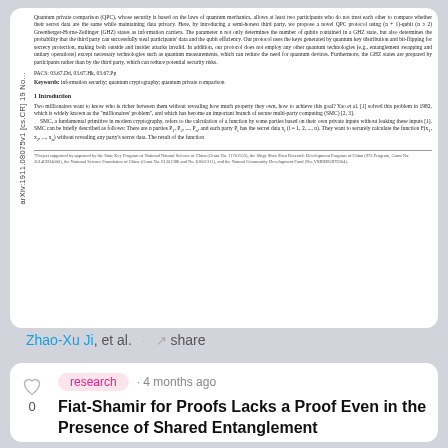[Figure (screenshot): Preview of an arXiv academic paper about quantum private comparison using GHZ states, showing abstract, PACS numbers, keywords, and beginning of Introduction section.]
Zhao-Xu Ji, et al. · share
research · 4 months ago
Fiat-Shamir for Proofs Lacks a Proof Even in the Presence of Shared Entanglement
We explore the cryptographic power of arbitrary shared physical resource...